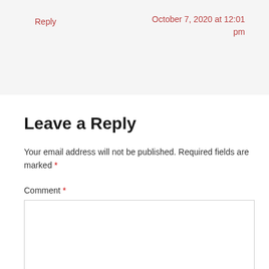Reply
October 7, 2020 at 12:01 pm
Leave a Reply
Your email address will not be published. Required fields are marked *
Comment *